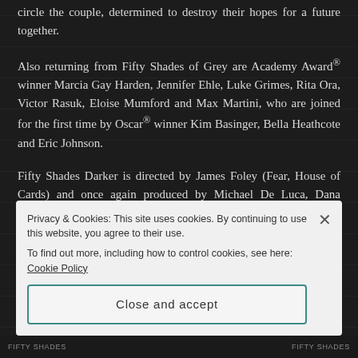circle the couple, determined to destroy their hopes for a future together.
Also returning from Fifty Shades of Grey are Academy Award® winner Marcia Gay Harden, Jennifer Ehle, Luke Grimes, Rita Ora, Victor Rasuk, Eloise Mumford and Max Martini, who are joined for the first time by Oscar® winner Kim Basinger, Bella Heathcote and Eric Johnson.
Fifty Shades Darker is directed by James Foley (Fear, House of Cards) and once again produced by Michael De Luca, Dana Brunetti and Marcus Viscidi alongside E...
Privacy & Cookies: This site uses cookies. By continuing to use this website, you agree to their use.
To find out more, including how to control cookies, see here: Cookie Policy
Close and accept
FIFTY SHADES